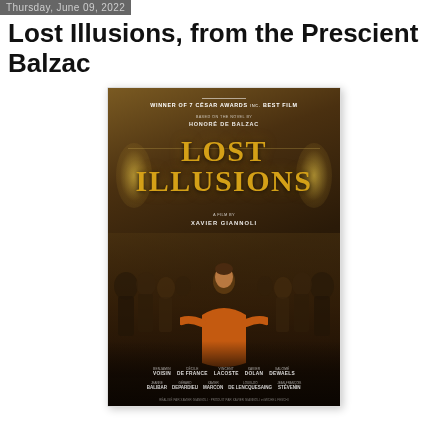Thursday, June 09, 2022
Lost Illusions, from the Prescient Balzac
[Figure (photo): Movie poster for 'Lost Illusions', a film by Xavier Giannoli. Gold text on dark background reads 'LOST ILLUSIONS'. Top states 'WINNER OF 7 CÉSAR AWARDS INCL. BEST FILM' and 'BASED ON THE NOVEL BY HONORÉ DE BALZAC'. Center shows a scene with a young man in an orange jacket with arms outstretched looking up, surrounded by period-dressed crowd in an ornate golden hall. Bottom credits include Benjamin Voisin, Cécile de France, Vincent Lacoste, Xavier Dolan, Salomé Dewaels, Jeanne Balibar, Gérard Depardieu, Xavier Marcon, Louis-Do de Lencquesaing, Jean-François Stévenin.]